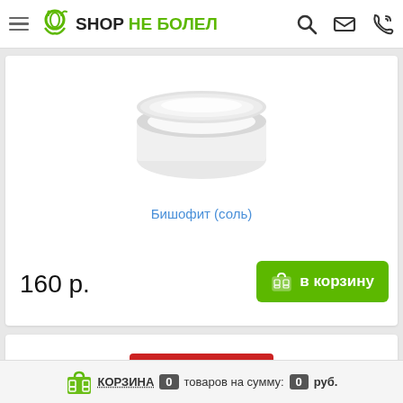SHOP НЕ БОЛЕЛ — navigation header with logo, search, mail, phone icons
[Figure (photo): Product photo of Бишофит (соль) — white powder in an open round container]
Бишофит (соль)
160 р.
в корзину
[Figure (photo): Partial view of second product card showing ТЕПЛОРИТ label]
КОРЗИНА 0 товаров на сумму: 0 руб.